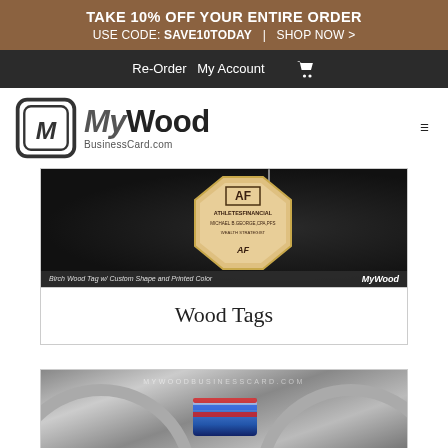TAKE 10% OFF YOUR ENTIRE ORDER USE CODE: SAVE10TODAY | SHOP NOW >
Re-Order  My Account  🛒
[Figure (logo): MyWood BusinessCard.com logo with stylized M icon]
[Figure (photo): Birch Wood Tag with custom octagon shape printed with ATHLETESFINANCIAL / MICHAEL B GEORGE CPA PFS / WEALTH STRATEGIST / AF logo. Caption: Birch Wood Tag w/ Custom Shape and Printed Color. MyWood watermark.]
Wood Tags
[Figure (photo): Partial view of a product image showing a wheel/tire with a branded item, watermark MYWOODBUSINESSCARD.COM]